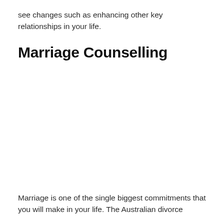see changes such as enhancing other key relationships in your life.
Marriage Counselling
Marriage is one of the single biggest commitments that you will make in your life. The Australian divorce